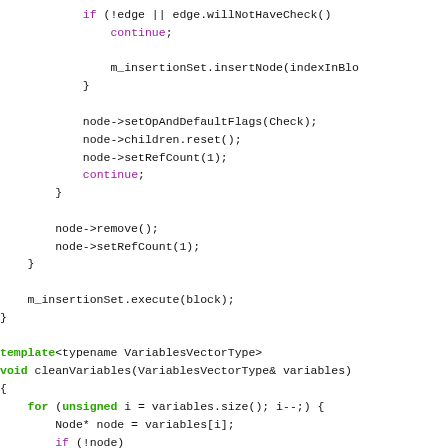[Figure (other): C++ source code snippet showing node manipulation, insertion set execution, and a cleanVariables template function with a for loop iterating over variables.]